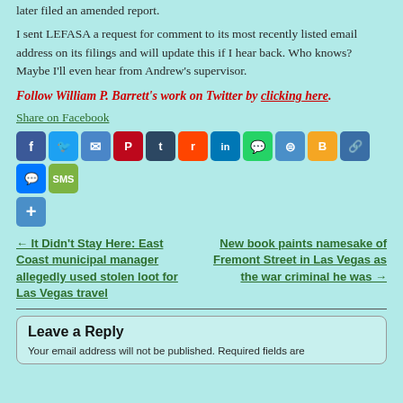later filed an amended report.
I sent LEFASA a request for comment to its most recently listed email address on its filings and will update this if I hear back. Who knows? Maybe I'll even hear from Andrew's supervisor.
Follow William P. Barrett's work on Twitter by clicking here.
Share on Facebook
[Figure (infographic): Social sharing icon buttons: Facebook, Twitter, Email, Pinterest, Tumblr, Reddit, LinkedIn, WhatsApp, Print, Blogger, Copy link, Messenger, SMS, Plus/More]
← It Didn't Stay Here: East Coast municipal manager allegedly used stolen loot for Las Vegas travel
New book paints namesake of Fremont Street in Las Vegas as the war criminal he was →
Leave a Reply
Your email address will not be published. Required fields are